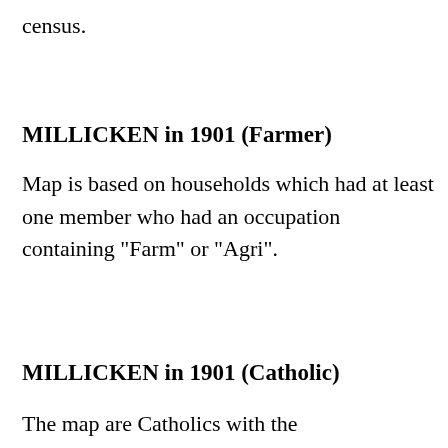census.
MILLICKEN in 1901 (Farmer)
Map is based on households which had at least one member who had an occupation containing "Farm" or "Agri".
MILLICKEN in 1901 (Catholic)
The map are Catholics with the...